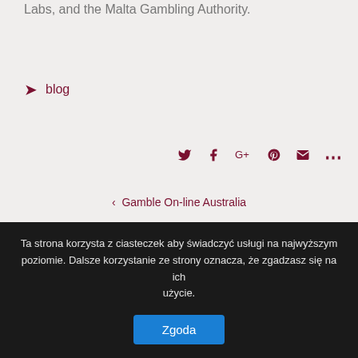Labs, and the Malta Gambling Authority.
blog
[Figure (other): Social share icons: Twitter, Facebook, Google+, Pinterest, Email, More]
< Gamble On-line Australia
Expiration Dating And find National Tyou'reatment Rule Pointers >
Ta strona korzysta z ciasteczek aby świadczyć usługi na najwyższym poziomie. Dalsze korzystanie ze strony oznacza, że zgadzasz się na ich użycie.
Zgoda